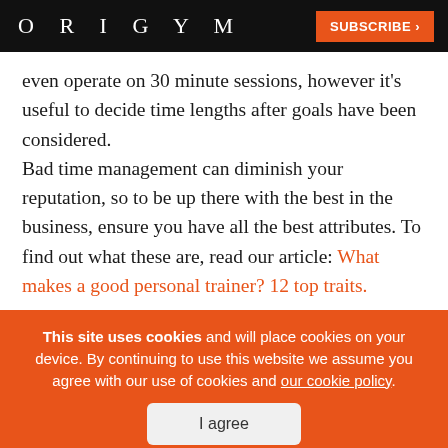ORIGYM | SUBSCRIBE >
even operate on 30 minute sessions, however it's useful to decide time lengths after goals have been considered.

Bad time management can diminish your reputation, so to be up there with the best in the business, ensure you have all the best attributes. To find out what these are, read our article: What makes a good personal trainer? 12 top traits.
This site uses cookies and will place cookies on your device. By continuing to use this website we assume you agree with our use of cookies and our cookie policy.
I agree